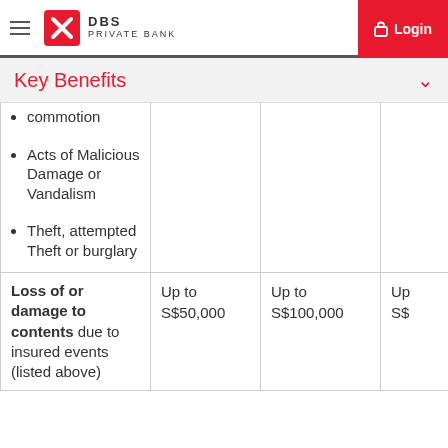DBS PRIVATE BANK — Login
Key Benefits
| Benefit | Plan 1 | Plan 2 | Plan 3 |
| --- | --- | --- | --- |
| commotion • Acts of Malicious Damage or Vandalism • Theft, attempted Theft or burglary |  |  |  |
| Loss of or damage to contents due to insured events (listed above) | Up to S$50,000 | Up to S$100,000 | Up to S$... |